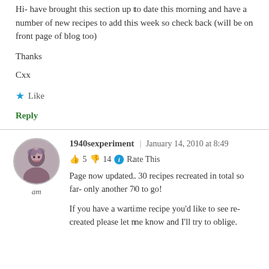Hi- have brought this section up to date this morning and have a number of new recipes to add this week so check back (will be on front page of blog too)
Thanks
Cxx
★ Like
Reply
1940sexperiment | January 14, 2010 at 8:49
👍 5 👎 14 ℹ Rate This
Page now updated. 30 recipes recreated in total so far- only another 70 to go!
If you have a wartime recipe you'd like to see re-created please let me know and I'll try to oblige.